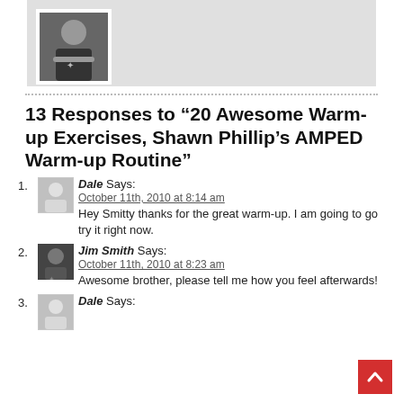[Figure (photo): Person in black t-shirt with arms crossed, shown in a white-framed photo against a gray background]
13 Responses to “20 Awesome Warm-up Exercises, Shawn Phillip’s AMPED Warm-up Routine”
1. Dale Says:
October 11th, 2010 at 8:14 am
Hey Smitty thanks for the great warm-up. I am going to go try it right now.
2. Jim Smith Says:
October 11th, 2010 at 8:23 am
Awesome brother, please tell me how you feel afterwards!
3. Dale Says: